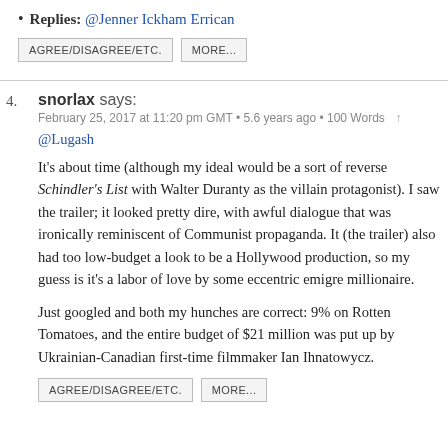• Replies: @Jenner Ickham Errican
AGREE/DISAGREE/ETC.   MORE...
4. snorlax says:
February 25, 2017 at 11:20 pm GMT • 5.6 years ago • 100 Words ↑
@Lugash
It's about time (although my ideal would be a sort of reverse Schindler's List with Walter Duranty as the villain protagonist). I saw the trailer; it looked pretty dire, with awful dialogue that was ironically reminiscent of Communist propaganda. It (the trailer) also had too low-budget a look to be a Hollywood production, so my guess is it's a labor of love by some eccentric emigre millionaire.
Just googled and both my hunches are correct: 9% on Rotten Tomatoes, and the entire budget of $21 million was put up by Ukrainian-Canadian first-time filmmaker Ian Ihnatowycz.
AGREE/DISAGREE/ETC.   MORE...